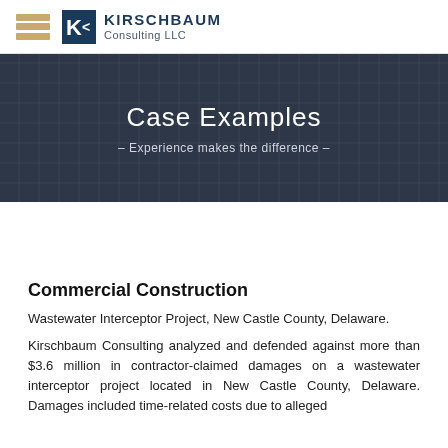KIRSCHBAUM Consulting LLC
Case Examples
– Experience makes the difference –
Commercial Construction
Wastewater Interceptor Project, New Castle County, Delaware.
Kirschbaum Consulting analyzed and defended against more than $3.6 million in contractor-claimed damages on a wastewater interceptor project located in New Castle County, Delaware. Damages included time-related costs due to alleged